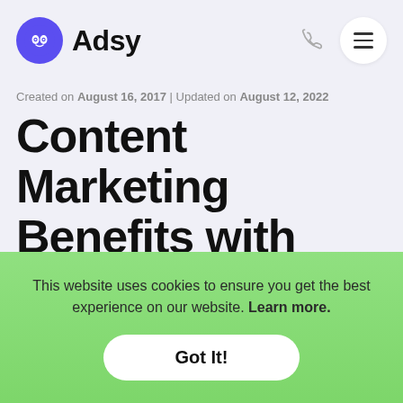Adsy
Created on August 16, 2017 | Updated on August 12, 2022
Content Marketing Benefits with Adsy. Part 2. Publishers
This website uses cookies to ensure you get the best experience on our website. Learn more.
Got It!